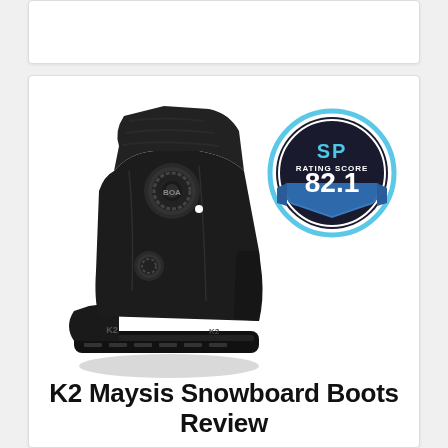[Figure (other): Top card with partial link text visible at top of page]
[Figure (photo): K2 Maysis black snowboard boot with BOA lacing system, shown from side angle, with SP Rating Score badge showing 82.1]
K2 Maysis Snowboard Boots Review